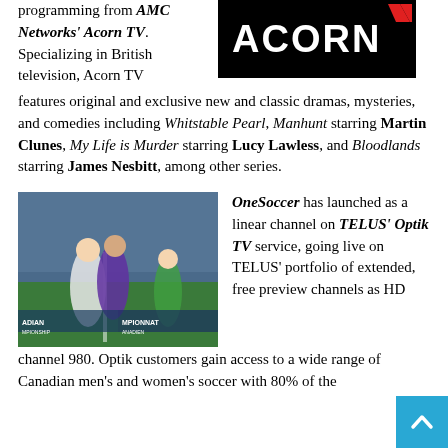programming from AMC Networks' Acorn TV. Specializing in British television, Acorn TV features original and exclusive new and classic dramas, mysteries, and comedies including Whitstable Pearl, Manhunt starring Martin Clunes, My Life is Murder starring Lucy Lawless, and Bloodlands starring James Nesbitt, among other series.
[Figure (logo): Acorn TV logo — white text 'ACORN' with red checkmark-style graphic on black background]
[Figure (photo): Soccer players in action during a Canadian Championship match, one player in white and one in purple competing for the ball, goalkeeper in green visible in background]
OneSoccer has launched as a linear channel on TELUS' Optik TV service, going live on TELUS' portfolio of extended, free preview channels as HD channel 980. Optik customers gain access to a wide range of Canadian men's and women's soccer with 80% of the